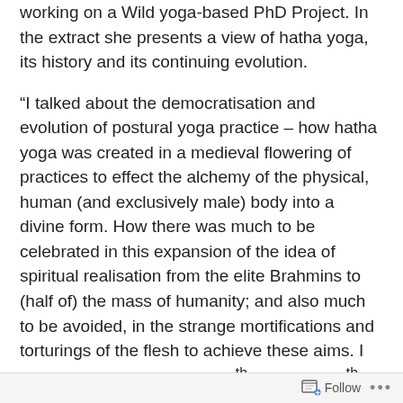working on a Wild Yoga-based PhD Project. In the extract she presents a view of hatha yoga, its history and its continuing evolution.
“I talked about the democratisation and evolution of postural yoga practice – how hatha yoga was created in a medieval flowering of practices to effect the alchemy of the physical, human (and exclusively male) body into a divine form. How there was much to be celebrated in this expansion of the idea of spiritual realisation from the elite Brahmins to (half of) the mass of humanity; and also much to be avoided, in the strange mortifications and torturings of the flesh to achieve these aims. I explained how, in the late 19th and early 20th Century, there was a deliberate and concerted campaign to revolutionise, systematise and sanitise these practices in the (re)creation of an
Follow